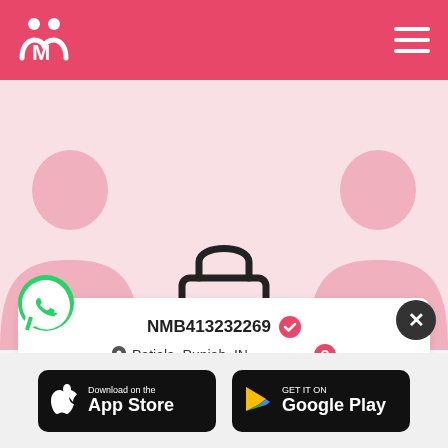[Figure (logo): Matrimony website logo with stylized M and two person icons on pink/red header background]
[Figure (illustration): Pink background with two silhouettes (man and woman) and a padlock icon in the center indicating locked/private profile]
NMB413232269 (verified badge)
Patiala, Punjab, IN
26 years Old, 5'7'', Hindu , Punjabi
[Figure (other): Register button - pink rounded rectangle button]
[Figure (other): WhatsApp green chat icon button]
[Figure (other): Download on the App Store badge]
[Figure (other): Get it on Google Play badge]
[Figure (other): Close (X) button - dark circle with X]